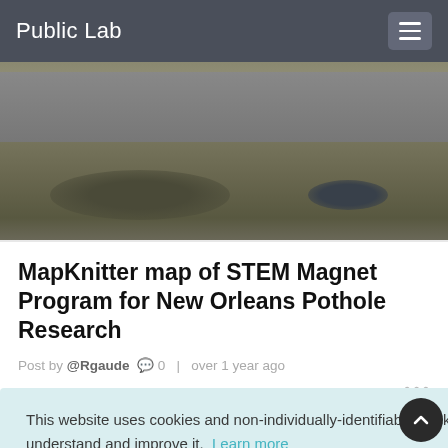Public Lab
[Figure (photo): Aerial or ground-level photo of a road with a pothole and gravel surface with puddles]
MapKnitter map of STEM Magnet Program for New Orleans Pothole Research
Post by @Rgaude  0  |  over 1 year ago
This website uses cookies and non-individually-identifiable tracking to help us understand and improve it.  Learn more
Got it!
[Figure (photo): Partial view of a wetland or waterway aerial photo in the bottom right corner]